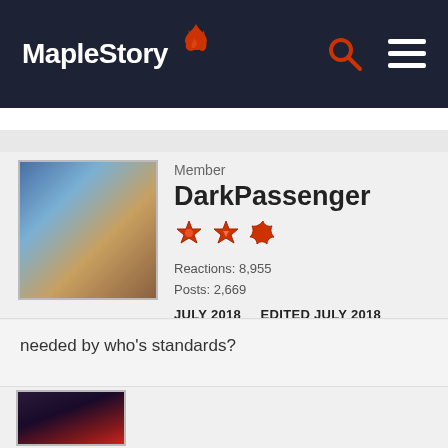MapleStory
Member
DarkPassenger
Reactions: 8,955
Posts: 2,669
JULY 2018    EDITED JULY 2018
needed by who's standards?
[Figure (photo): User avatar showing a chibi/pixel art character in a witch hat with blue and gold colors]
[Figure (photo): Second user avatar showing a dark-themed character in red and black armor]